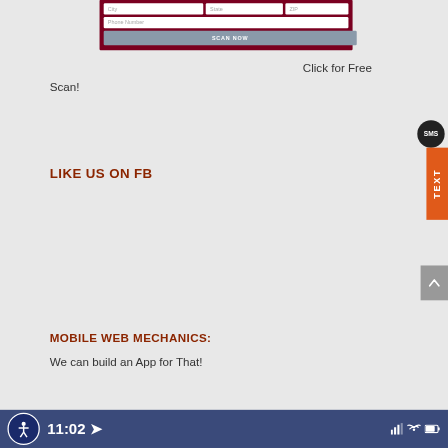[Figure (screenshot): Web form widget with dark red background containing City, State, ZIP fields, Phone Number field, and a SCAN NOW button]
Click for Free Scan!
LIKE US ON FB
[Figure (screenshot): SMS speech bubble icon (dark circle with SMS text) and orange TEXT tab on right edge]
[Figure (screenshot): Gray scroll-up button with caret/arrow icon]
MOBILE WEB MECHANICS:
We can build an App for That!
11:02  Signal bars, WiFi, Battery icons